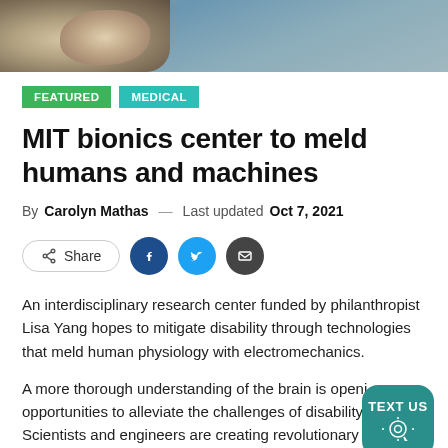[Figure (photo): Partial photograph of a rocky mountain landscape with sky, cropped at top of page]
FEATURED
MEDICAL
MIT bionics center to meld humans and machines
By Carolyn Mathas — Last updated Oct 7, 2021
Share (social buttons: Facebook, Twitter, Email)
An interdisciplinary research center funded by philanthropist Lisa Yang hopes to mitigate disability through technologies that meld human physiology with electromechanics.
A more thorough understanding of the brain is opening opportunities to alleviate the challenges of disability. Scientists and engineers are creating revolutionary